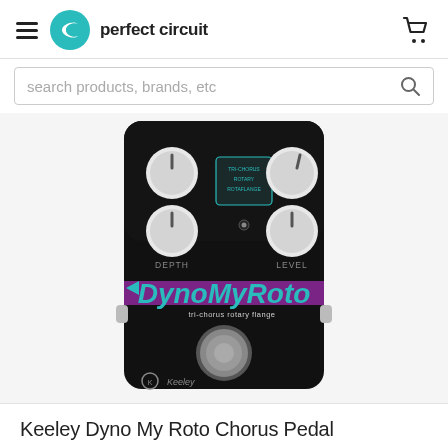perfect circuit
search products, brands, etc
[Figure (photo): Keeley Dyno My Roto Chorus Pedal - black guitar effects pedal with teal lettering 'DynoMyRoto' and 'tri-chorus rotary flange', with DEPTH and LEVEL knobs, a footswitch, and selector switches on top. Bottom has Keeley logo.]
Keeley Dyno My Roto Chorus Pedal